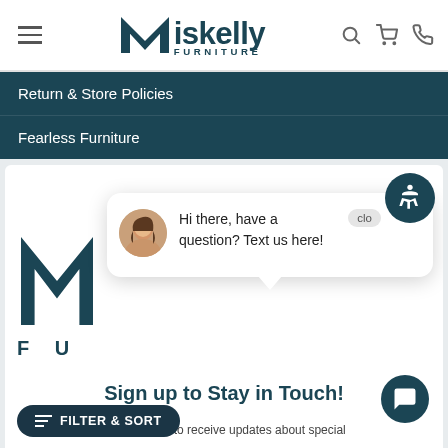Miskelly Furniture — navigation header with hamburger menu, logo, search, cart, and phone icons
Return & Store Policies
Fearless Furniture
[Figure (screenshot): Miskelly Furniture website screenshot showing a chat popup with a woman's avatar saying 'Hi there, have a question? Text us here!', along with the Miskelly Furniture logo, a Sign up to Stay in Touch section, a Filter & Sort button, and an accessibility button.]